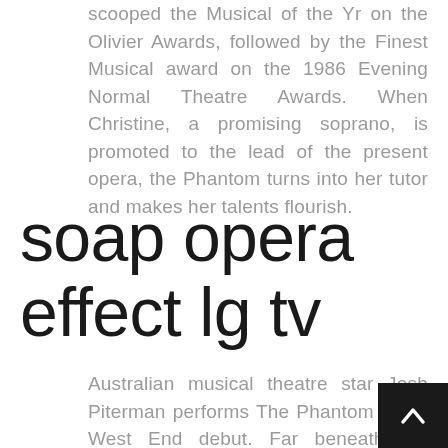scooped the Musical of the Yr on the Olivier Awards, followed by the Finest Musical award on the 1986 Evening Normal Theatre Awards. When Christine, a promising soprano, is promoted to the lead of the present opera, the Phantom turns into her tutor and makes her talents flourish.
soap opera effect lg tv
Australian musical theatre star Josh Piterman performs The Phantom in his West End debut. Far beneath the majesty and splendour of the Paris Opera Home,